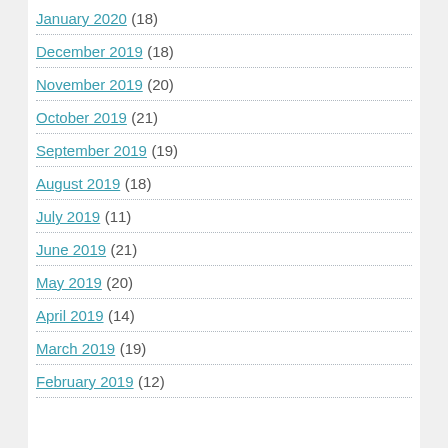January 2020 (18)
December 2019 (18)
November 2019 (20)
October 2019 (21)
September 2019 (19)
August 2019 (18)
July 2019 (11)
June 2019 (21)
May 2019 (20)
April 2019 (14)
March 2019 (19)
February 2019 (12)